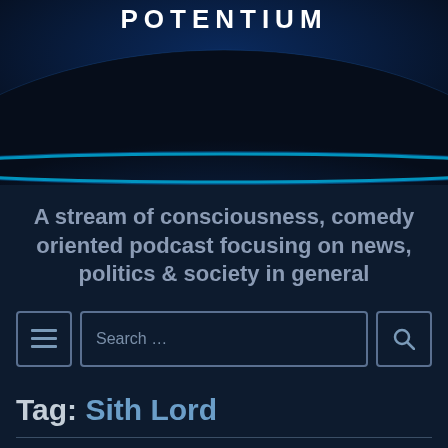[Figure (illustration): Podcast banner image showing the Earth from space with a blue glow along the horizon and the word POTENTIUM in white text at the top center]
A stream of consciousness, comedy oriented podcast focusing on news, politics & society in general
Search ...
Tag: Sith Lord
Potentium – Episode 265 (2/18/21)